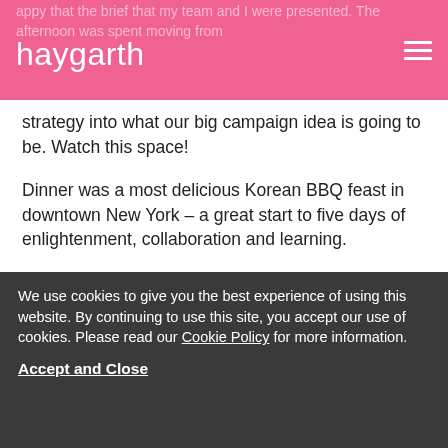haygarth
strategy into what our big campaign idea is going to be. Watch this space!
Dinner was a most delicious Korean BBQ feast in downtown New York – a great start to five days of enlightenment, collaboration and learning.
Day 2
Our day started with lessons in leadership with
We use cookies to give you the best experience of using this website. By continuing to use this site, you accept our use of cookies. Please read our Cookie Policy for more information.
Accept and Close